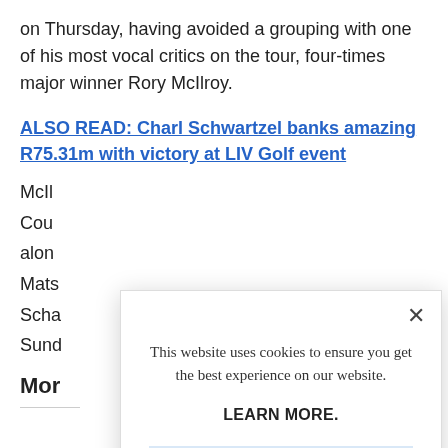on Thursday, having avoided a grouping with one of his most vocal critics on the tour, four-times major winner Rory McIlroy.
ALSO READ: Charl Schwartzel banks amazing R75.31m with victory at LIV Golf event
McIl...
Cou...
alon...
Mats...
Scha...
Sund...
Mor
[Figure (screenshot): Cookie consent modal dialog with close button (X), text 'This website uses cookies to ensure you get the best experience on our website.', bold 'LEARN MORE.' text, and a light blue 'ACCEPT COOKIES' button.]